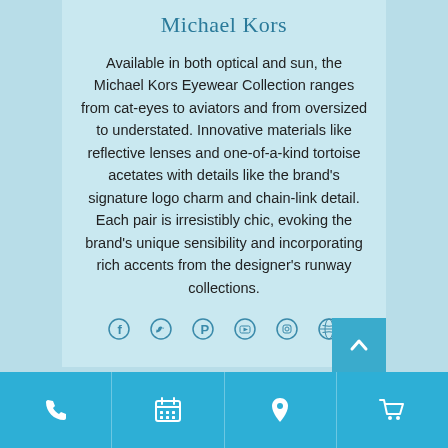Michael Kors
Available in both optical and sun, the Michael Kors Eyewear Collection ranges from cat-eyes to aviators and from oversized to understated. Innovative materials like reflective lenses and one-of-a-kind tortoise acetates with details like the brand's signature logo charm and chain-link detail. Each pair is irresistibly chic, evoking the brand's unique sensibility and incorporating rich accents from the designer's runway collections.
[Figure (infographic): Social media icons row: Facebook, Twitter, Pinterest, YouTube, Instagram, Globe/Website]
[Figure (infographic): Back to top button with upward chevron arrow]
[Figure (infographic): Bottom navigation bar with four icons: phone, calendar/schedule, location pin, shopping cart]